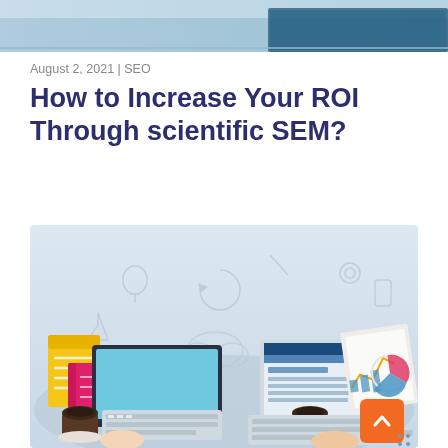[Figure (photo): Top cropped banner image showing an office/workspace scene in blue tones]
August 2, 2021 | SEO
How to Increase Your ROI Through scientific SEM?
[Figure (illustration): Flat design illustration of two people working at desks with computers, keyboards, coffee cups, books, and charts on a light blue background with doodle icons]